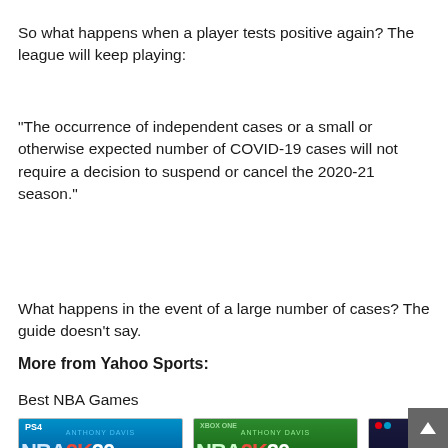So what happens when a player tests positive again? The league will keep playing:
"The occurrence of independent cases or a small or otherwise expected number of COVID-19 cases will not require a decision to suspend or cancel the 2020-21 season."
What happens in the event of a large number of cases? The guide doesn't say.
More from Yahoo Sports:
Best NBA Games
[Figure (screenshot): Three NBA 2K20 game boxes: PS4 edition (blue), Xbox One edition (green), and Nintendo Switch Legend Edition (dark blue)]